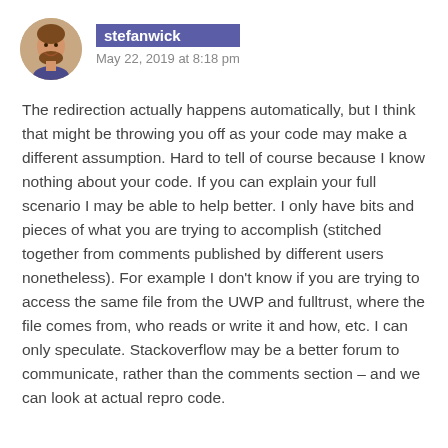[Figure (photo): Circular avatar photo of a man with a beard, smiling]
stefanwick
May 22, 2019 at 8:18 pm
The redirection actually happens automatically, but I think that might be throwing you off as your code may make a different assumption. Hard to tell of course because I know nothing about your code. If you can explain your full scenario I may be able to help better. I only have bits and pieces of what you are trying to accomplish (stitched together from comments published by different users nonetheless). For example I don’t know if you are trying to access the same file from the UWP and fulltrust, where the file comes from, who reads or write it and how, etc. I can only speculate. Stackoverflow may be a better forum to communicate, rather than the comments section – and we can look at actual repro code.